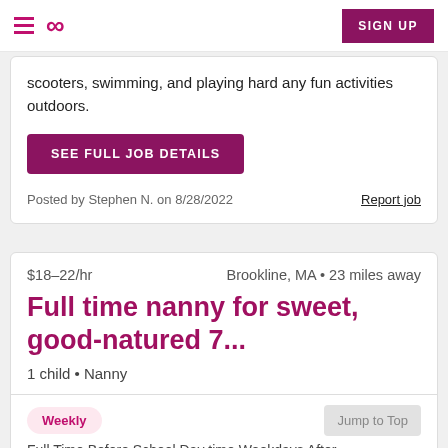Sittercity navigation bar with hamburger menu, infinity logo, and SIGN UP button
scooters, swimming, and playing hard any fun activities outdoors.
SEE FULL JOB DETAILS
Posted by Stephen N. on 8/28/2022
Report job
$18–22/hr   Brookline, MA • 23 miles away
Full time nanny for sweet, good-natured 7...
1 child • Nanny
Weekly
Jump to Top
Full Time Before School Day time Weekdays After